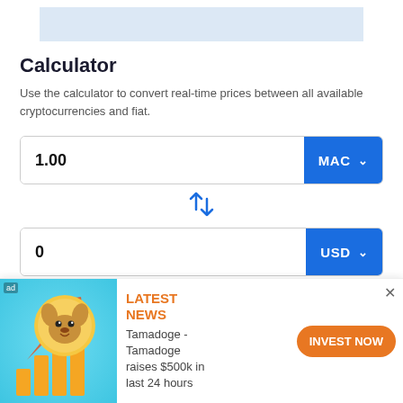[Figure (other): Light blue banner/header image at top of page]
Calculator
Use the calculator to convert real-time prices between all available cryptocurrencies and fiat.
[Figure (screenshot): Currency calculator input field showing 1.00 with MAC currency selector button]
[Figure (other): Swap/exchange icon arrows pointing up and down in blue]
[Figure (screenshot): Currency calculator input field showing 0 with USD currency selector button]
[Figure (screenshot): Date row with Now button and date input showing 08/29/2022 with calendar icon]
[Figure (infographic): Advertisement banner: Tamadoge crypto ad with dog coin image, LATEST NEWS label in orange, text 'Tamadoge - Tamadoge raises $500k in last 24 hours', and orange INVEST NOW button]